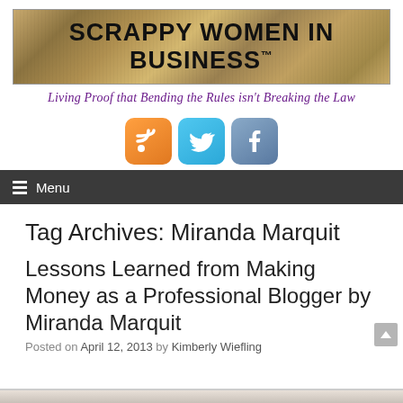[Figure (logo): Scrappy Women in Business banner logo with textured stone/wood background, bold black uppercase text 'SCRAPPY WOMEN IN BUSINESS™']
Living Proof that Bending the Rules isn't Breaking the Law
[Figure (infographic): Three social media icons: RSS feed (orange), Twitter (blue), Facebook (blue-grey)]
Menu
Tag Archives: Miranda Marquit
Lessons Learned from Making Money as a Professional Blogger by Miranda Marquit
Posted on April 12, 2013 by Kimberly Wiefling